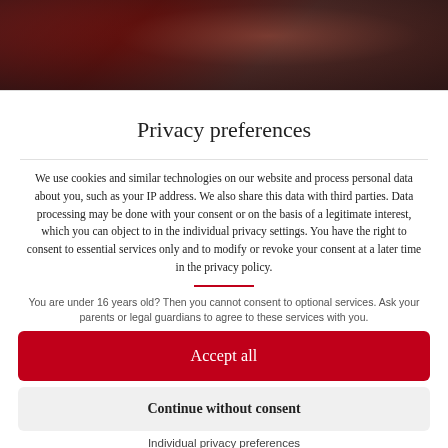[Figure (photo): Dark reddish-brown blurred photo at top of page, appears to show people or objects with warm tones]
Privacy preferences
We use cookies and similar technologies on our website and process personal data about you, such as your IP address. We also share this data with third parties. Data processing may be done with your consent or on the basis of a legitimate interest, which you can object to in the individual privacy settings. You have the right to consent to essential services only and to modify or revoke your consent at a later time in the privacy policy.
You are under 16 years old? Then you cannot consent to optional services. Ask your parents or legal guardians to agree to these services with you.
Accept all
Continue without consent
Individual privacy preferences
Privacy policy • Imprint
Cookie Consent with Real Cookie Banner